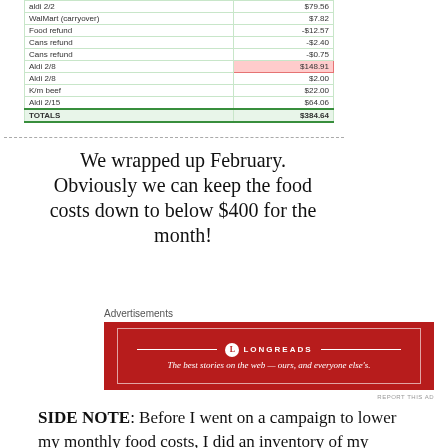|  |  |
| --- | --- |
| aldi 2/2 | $79.56 |
| WalMart (carryover) | $7.82 |
| Food refund | -$12.57 |
| Cans refund | -$2.40 |
| Cans refund | -$0.75 |
| Aldi 2/8 | $148.91 |
| Aldi 2/8 | $2.00 |
| K/m beef | $22.00 |
| Aldi 2/15 | $64.06 |
| TOTALS | $384.64 |
We wrapped up February. Obviously we can keep the food costs down to below $400 for the month!
Advertisements
[Figure (other): Longreads advertisement banner: red background with logo and tagline 'The best stories on the web — ours, and everyone else's.']
SIDE NOTE: Before I went on a campaign to lower my monthly food costs, I did an inventory of my freezers, my fridge, my pantry and my stock pile. I had a lot of things that I don't need to buy for a very long time (such as 24 cans of tuna fish!!) I wrote everything down on